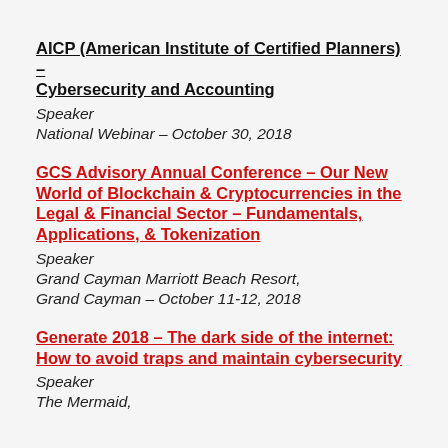AICP (American Institute of Certified Planners) – Cybersecurity and Accounting
Speaker
National Webinar – October 30, 2018
GCS Advisory Annual Conference – Our New World of Blockchain & Cryptocurrencies in the Legal & Financial Sector – Fundamentals, Applications, & Tokenization
Speaker
Grand Cayman Marriott Beach Resort,
Grand Cayman – October 11-12, 2018
Generate 2018 – The dark side of the internet: How to avoid traps and maintain cybersecurity
Speaker
The Mermaid,